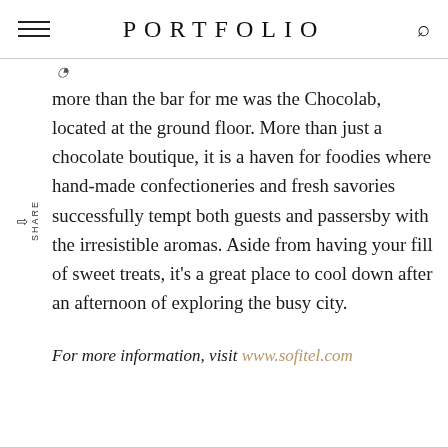PORTFOLIO
more than the bar for me was the Chocolab, located at the ground floor. More than just a chocolate boutique, it is a haven for foodies where hand-made confectioneries and fresh savories successfully tempt both guests and passersby with the irresistible aromas. Aside from having your fill of sweet treats, it’s a great place to cool down after an afternoon of exploring the busy city.
For more information, visit www.sofitel.com